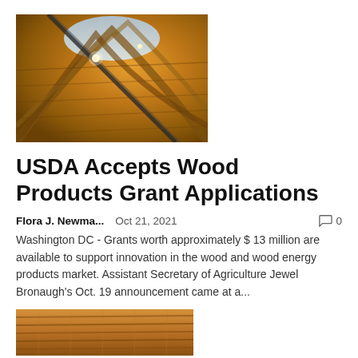[Figure (photo): Interior architectural photo of a wooden curved ceiling/roof structure with exposed timber beams and metal supports, warm amber lighting]
USDA Accepts Wood Products Grant Applications
Flora J. Newma...   Oct 21, 2021   💬 0
Washington DC - Grants worth approximately $ 13 million are available to support innovation in the wood and wood energy products market. Assistant Secretary of Agriculture Jewel Bronaugh's Oct. 19 announcement came at a...
[Figure (photo): Close-up photo of stacked wooden boards/lumber with visible wood grain texture in warm brown tones]